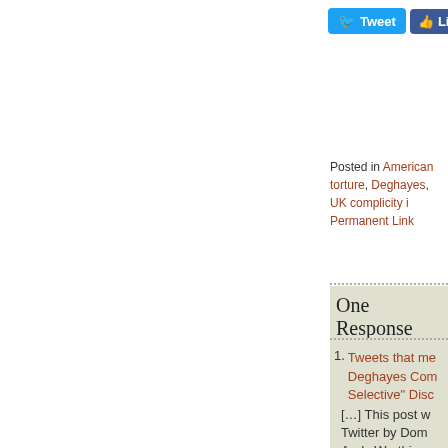[Figure (other): Twitter Tweet button (blue) and Facebook Like button (blue) social sharing buttons]
Posted in American torture, Deghayes, UK complicity i... Permanent Link
One Response
1. Tweets that me... Deghayes Com... Selective" Disc... Documents Re... Interrogations i... Guantánamo | ... Topsy.com say...
[…] This post w... Twitter by Dom... Andy Worthing... Prism Magazin...